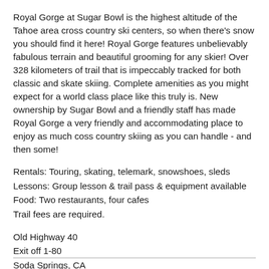Royal Gorge at Sugar Bowl is the highest altitude of the Tahoe area cross country ski centers, so when there's snow you should find it here! Royal Gorge features unbelievably fabulous terrain and beautiful grooming for any skier! Over 328 kilometers of trail that is impeccably tracked for both classic and skate skiing. Complete amenities as you might expect for a world class place like this truly is. New ownership by Sugar Bowl and a friendly staff has made Royal Gorge a very friendly and accommodating place to enjoy as much coss country skiing as you can handle - and then some!
Rentals: Touring, skating, telemark, snowshoes, sleds
Lessons: Group lesson & trail pass & equipment available
Food: Two restaurants, four cafes
Trail fees are required.
Old Highway 40
Exit off 1-80
Soda Springs, CA
Phone: (530) 426-3871